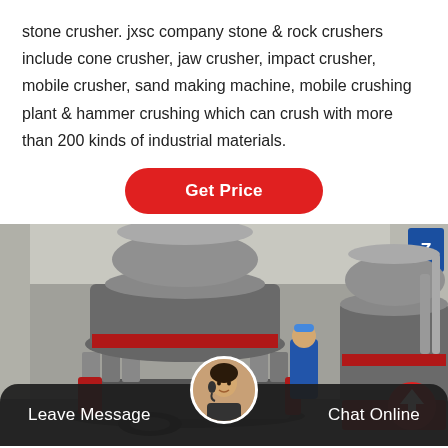stone crusher. jxsc company stone & rock crushers include cone crusher, jaw crusher, impact crusher, mobile crusher, sand making machine, mobile crushing plant & hammer crushing which can crush with more than 200 kinds of industrial materials.
[Figure (other): Red rounded rectangle button labeled 'Get Price' in bold white text on a red background]
[Figure (photo): Industrial factory floor showing two large cone crusher machines in grey and red, with a worker in a blue uniform visible in the background. A red circle with an upward arrow (scroll-to-top button) is overlaid on the lower right.]
Leave Message   Chat Online